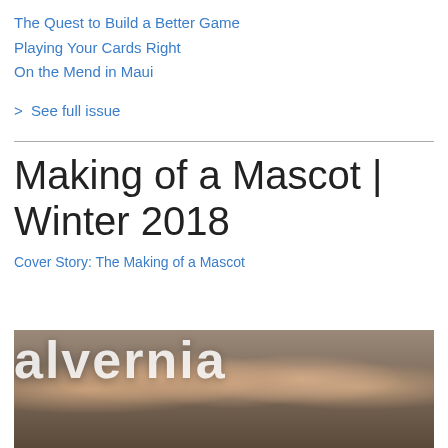The Quest to Build a Better Game
Playing Your Cards Right
On the Mend in Maui
> See full issue
Making of a Mascot | Winter 2018
Cover Story: The Making of a Mascot
[Figure (photo): Group photo of cheerleaders smiling, with the word 'alvernia' displayed in large white letters in the foreground]